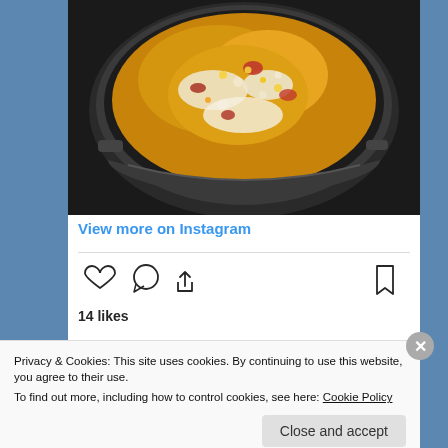[Figure (photo): Instagram post photo showing food cooking in a dark round skillet/pan, with a bubbly orange-yellow mixture that appears to be a corn and tomato dish, viewed from above.]
View more on Instagram
[Figure (other): Instagram interaction icons: heart (like), comment bubble, share arrow on the left; bookmark icon on the right.]
14 likes
Privacy & Cookies: This site uses cookies. By continuing to use this website, you agree to their use.
To find out more, including how to control cookies, see here: Cookie Policy
Close and accept